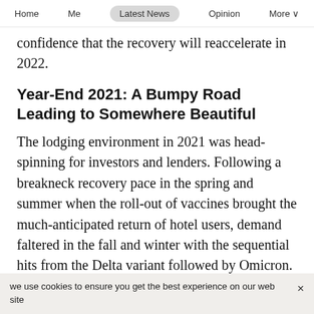Home   Me   Latest News   Opinion   More
confidence that the recovery will reaccelerate in 2022.
Year-End 2021: A Bumpy Road Leading to Somewhere Beautiful
The lodging environment in 2021 was head-spinning for investors and lenders. Following a breakneck recovery pace in the spring and summer when the roll-out of vaccines brought the much-anticipated return of hotel users, demand faltered in the fall and winter with the sequential hits from the Delta variant followed by Omicron.
we use cookies to ensure you get the best experience on our web site  ×